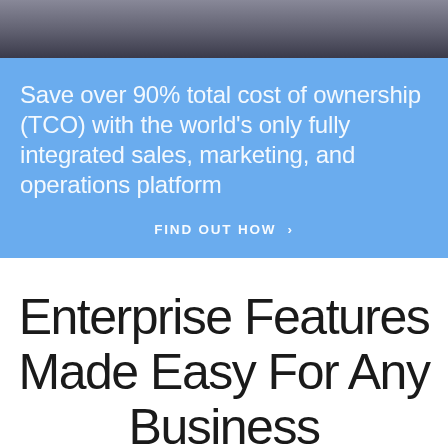[Figure (photo): Partial photo strip at top of page showing a dark/grey image, cropped]
Save over 90% total cost of ownership (TCO) with the world's only fully integrated sales, marketing, and operations platform
FIND OUT HOW >
Enterprise Features Made Easy For Any Business